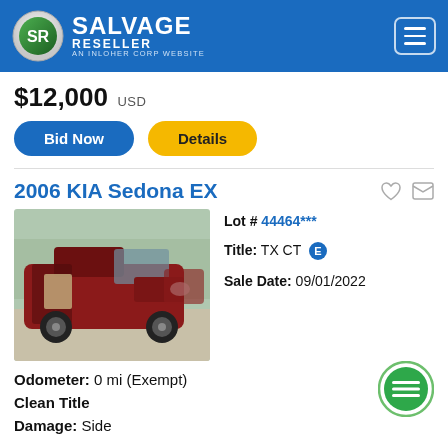Salvage Reseller — An Inloher Corp Website
$12,000 USD
Bid Now | Details
2006 KIA Sedona EX
[Figure (photo): Damaged 2006 KIA Sedona EX minivan, red color, side damage visible, parked in a salvage yard]
Lot # 44464*** Title: TX CT E Sale Date: 09/01/2022
Odometer: 0 mi (Exempt)
Clean Title
Damage: Side